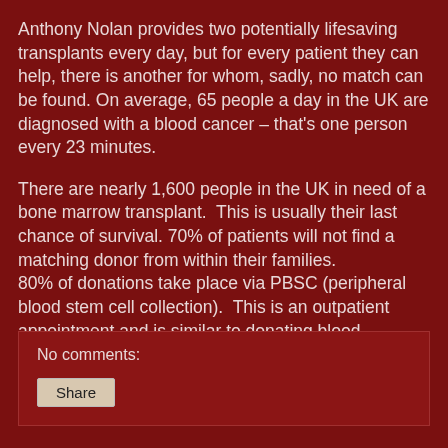Anthony Nolan provides two potentially lifesaving transplants every day, but for every patient they can help, there is another for whom, sadly, no match can be found. On average, 65 people a day in the UK are diagnosed with a blood cancer – that's one person every 23 minutes.
There are nearly 1,600 people in the UK in need of a bone marrow transplant.  This is usually their last chance of survival. 70% of patients will not find a matching donor from within their families.
80% of donations take place via PBSC (peripheral blood stem cell collection).  This is an outpatient appointment and is similar to donating blood.
Most donors talk about how wonderful it is to have saved someone's life.
No comments:
Share